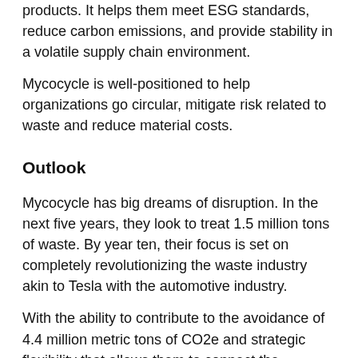products. It helps them meet ESG standards, reduce carbon emissions, and provide stability in a volatile supply chain environment.
Mycocycle is well-positioned to help organizations go circular, mitigate risk related to waste and reduce material costs.
Outlook
Mycocycle has big dreams of disruption. In the next five years, they look to treat 1.5 million tons of waste. By year ten, their focus is set on completely revolutionizing the waste industry akin to Tesla with the automotive industry.
With the ability to contribute to the avoidance of 4.4 million metric tons of CO2e and strategic flexibility that allows them to connect the materials supply chain with waste management, Mycocycle's future is bright.